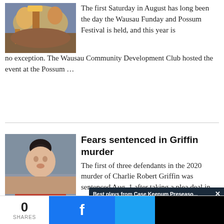[Figure (photo): Photo of people at the Wausau Funday and Possum Festival, showing crowd in festive attire]
The first Saturday in August has long been the day the Wausau Funday and Possum Festival is held, and this year is no exception. The Wausau Community Development Club hosted the event at the Possum …
[Figure (photo): Mugshot photo of Jestiny Lee Fears, a young woman with dark hair in a bun wearing a red top]
Fears sentenced in Griffin murder
The first of three defendants in the 2020 murder of Charlie Robert Griffin was sentenced Aug. 1 after taking a plea deal in the case. 27-year-old Jestiny Lee Fears will serve 15 years in the …
[Figure (screenshot): Video overlay popup with dark background showing 'Best plays from Case Keenum Preseaso...' with a mute button (yellow circle with speaker icon) and a loading spinner (teal arc). An X close button is visible.]
0
SHARES